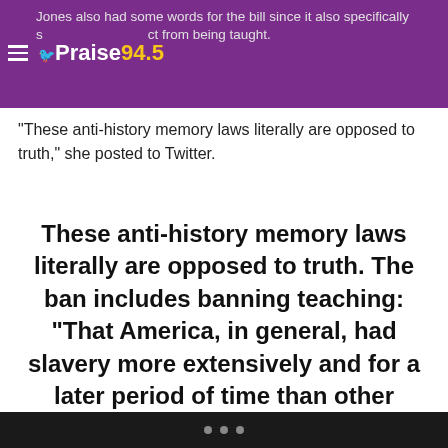Jones also had some words for the bill since it also specifically s...ct from being taught. | Praise 94.5
“These anti-history memory laws literally are opposed to truth,” she posted to Twitter.
These anti-history memory laws literally are opposed to truth. The ban includes banning teaching: “That America, in general, had slavery more extensively and for a later period of time than other nations.” We were 3rd to last in the Americas to abolish. https://t.co/mIKiBA8IAw